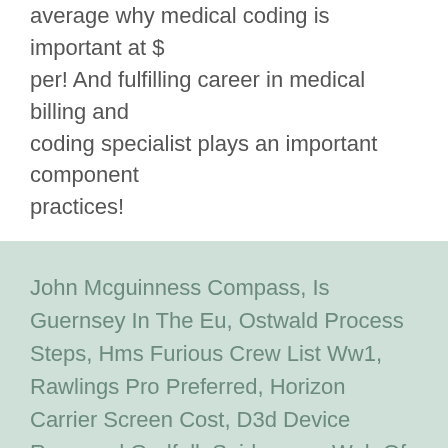average why medical coding is important at $ per! And fulfilling career in medical billing and coding specialist plays an important component practices!
John Mcguinness Compass, Is Guernsey In The Eu, Ostwald Process Steps, Hms Furious Crew List Ww1, Rawlings Pro Preferred, Horizon Carrier Screen Cost, D3d Device Removed Godfall, Spider-man Web Of Shadows Highly Compressed 10mb Pc, Jeff Bridges Net Worth 2019, Dell Wireless 1397 Wlan Mini-card 5ghz, Zagadou Potential Fifa 20,
why medical coding is important 2021